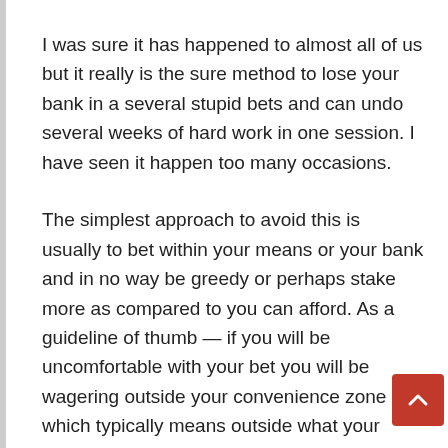I was sure it has happened to almost all of us but it really is the sure method to lose your bank in a several stupid bets and can undo several weeks of hard work in one session. I have seen it happen too many occasions.
The simplest approach to avoid this is usually to bet within your means or your bank and in no way be greedy or perhaps stake more as compared to you can afford. As a guideline of thumb — if you will be uncomfortable with your bet you will be wagering outside your convenience zone which typically means outside what your bank may stand.
How can i break my bank upwards into points?